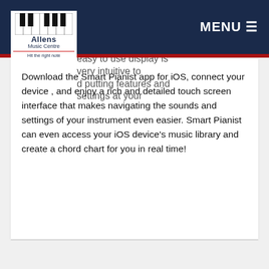[Figure (logo): Allens Music Centre logo with piano keys and tagline 'Hit the right note']
MENU ☰
variety of settings to shape your sound.
easy to use display is very intuitive to
d putting features and settings at your
Download the Smart Pianist app for iOS, connect your device , and enjoy a rich and detailed touch screen interface that makes navigating the sounds and settings of your instrument even easier. Smart Pianist can even access your iOS device's music library and create a chord chart for you in real time!